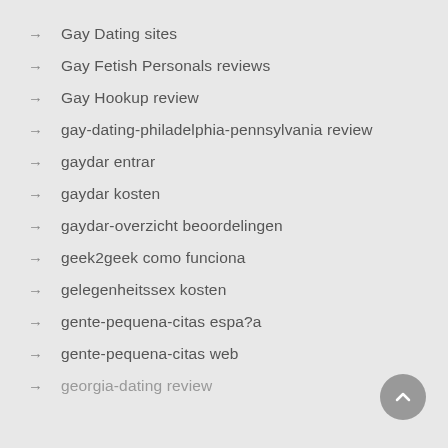Gay Dating sites
Gay Fetish Personals reviews
Gay Hookup review
gay-dating-philadelphia-pennsylvania review
gaydar entrar
gaydar kosten
gaydar-overzicht beoordelingen
geek2geek como funciona
gelegenheitssex kosten
gente-pequena-citas espa?a
gente-pequena-citas web
georgia-dating review